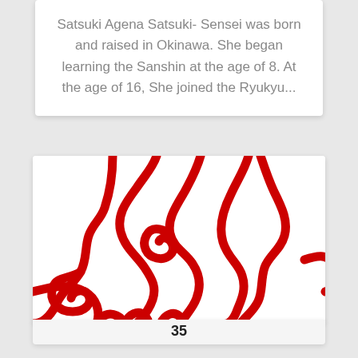Satsuki Agena Satsuki- Sensei was born and raised in Okinawa. She began learning the Sanshin at the age of 8. At the age of 16, She joined the Ryukyu...
[Figure (illustration): A red line illustration of a dragon or decorative swirling pattern on a white background, partially cropped]
35